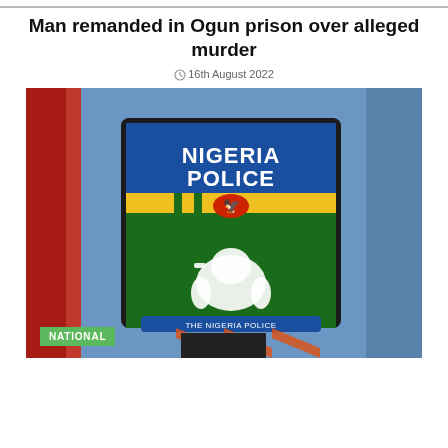[Figure (photo): Top of page partial image strip]
Man remanded in Ogun prison over alleged murder
16th August 2022
[Figure (photo): Nigeria Police uniform badge/patch showing 'NIGERIA POLICE' text with eagle emblem, green and yellow design, white elephant, and 'THE NIGERIA POLICE' ribbon]
NATIONAL